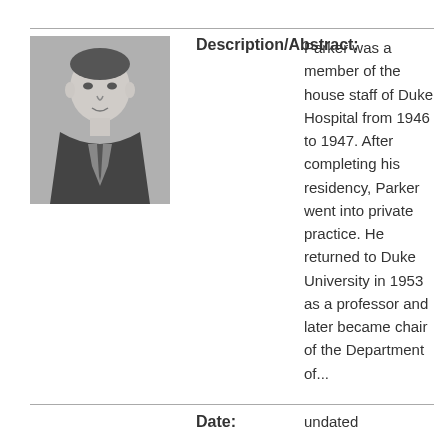[Figure (photo): Black and white headshot photograph of a man in a suit and tie]
Description/Abstract:
Parker was a member of the house staff of Duke Hospital from 1946 to 1947. After completing his residency, Parker went into private practice. He returned to Duke University in 1953 as a professor and later became chair of the Department of...
Date:
undated